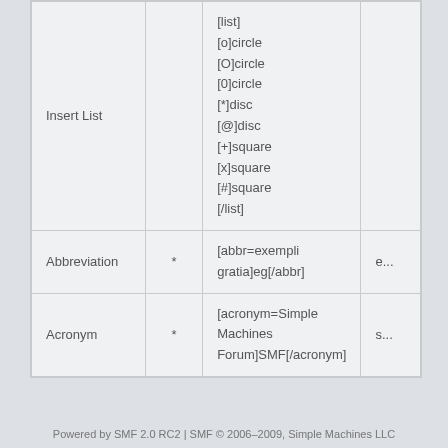|  |  | Syntax |  |
| --- | --- | --- | --- |
| Insert List |  | [list]
[o]circle
[O]circle
[0]circle
[*]disc
[@]disc
[+]square
[x]square
[#]square
[/list] |  |
| Abbreviation | * | [abbr=exempli gratia]eg[/abbr] | e... |
| Acronym | * | [acronym=Simple Machines Forum]SMF[/acronym] | s... |
Powered by SMF 2.0 RC2 | SMF © 2006-2009, Simple Machines LLC